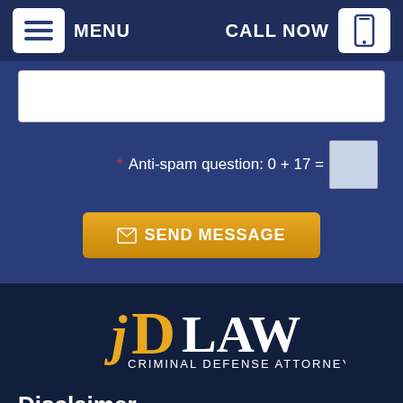MENU | CALL NOW
[Figure (screenshot): Website contact form section showing a textarea input field, anti-spam question '0 + 17 =' with input box, and a gold 'SEND MESSAGE' button on a dark blue background]
[Figure (logo): JD Law Criminal Defense Attorneys logo with gold and white lettering on dark navy background]
Disclaimer
San Diego Prostitution Defense Attorney Disclaimer: The information on this website is for general information purposes only. Nothing on this site should be taken as legal advice for any individual case or situation. This information is not intended to create, and receipt or viewing does not constitute, an